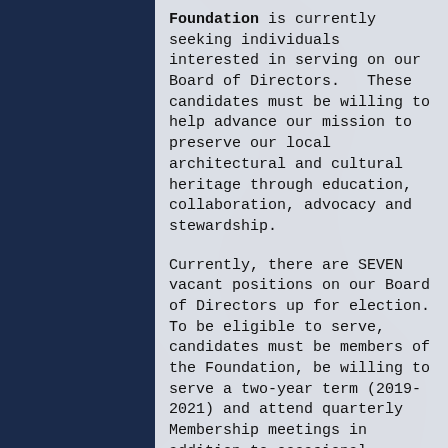Foundation is currently seeking individuals interested in serving on our Board of Directors.  These candidates must be willing to help advance our mission to preserve our local architectural and cultural heritage through education, collaboration, advocacy and stewardship.
Currently, there are SEVEN vacant positions on our Board of Directors up for election. To be eligible to serve, candidates must be members of the Foundation, be willing to serve a two-year term (2019-2021) and attend quarterly Membership meetings in addition to occasional Special Meetings and Committee meetings.
Members of the Board receive no